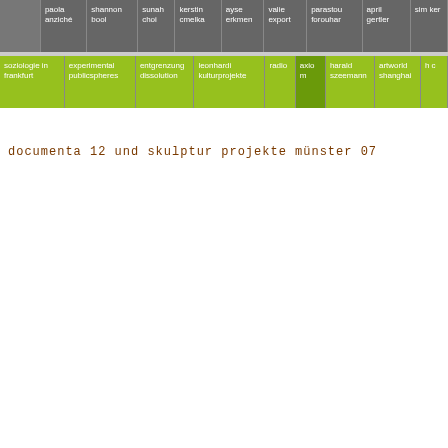| concept | paola anziché | shannon bool | sunah choi | kerstin cmelka | ayse erkmen | valie export | parastou forouhar | april gertler | sim ker |
| --- | --- | --- | --- | --- | --- | --- | --- | --- | --- |
| soziologie in frankfurt | experimental publicspheres | entgrenzung dissolution | leonhardi kulturprojekte | radio | axiom | harald szeemann | artworld shanghai | h c |
documenta 12 und skulptur projekte münster 07